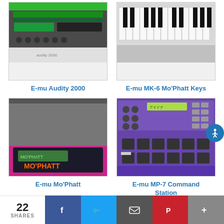[Figure (photo): E-mu Audity 2000 synthesizer top view showing green display and controls]
E-mu Audity 2000
[Figure (photo): E-mu MK-6 Mo'Phatt Keys keyboard synthesizer showing black and white keys]
E-mu MK-6 Mo'Phatt Keys
[Figure (photo): E-mu Mo'Phatt synthesizer with pink/magenta trim, black display showing MO'PHATT branding and LCD screen]
E-mu Mo'Phatt
[Figure (photo): E-mu MP-7 Command Station purple synthesizer workstation with pads and controls]
E-mu MP-7 Command Station
22 SHARES